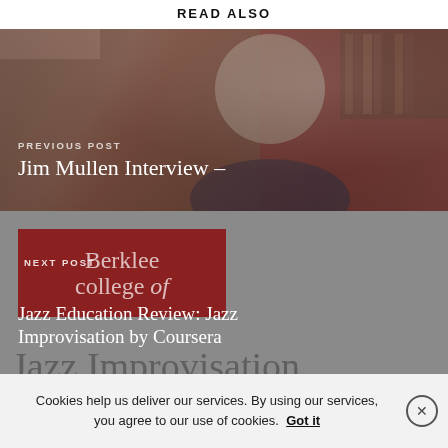READ ALSO
[Figure (photo): Photo of Jim Mullen, an older man with white hair, overlaid with semi-transparent dark tones. Text overlay reads 'PREVIOUS POST' and 'Jim Mullen Interview'.]
[Figure (photo): Next post block with Berklee College of Music logo badge (dark red background) and large text overlay. Text reads 'NEXT POST' and 'Jazz Education Review: Jazz Improvisation by Coursera'. Behind is a grey background with large faded text 'Jazz Improvisation'.]
RELATED POSTS
Cookies help us deliver our services. By using our services, you agree to our use of cookies. Got it